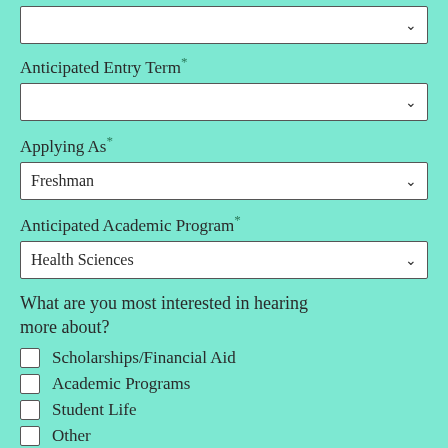(partial dropdown at top, no label visible)
Anticipated Entry Term*
Applying As*
Freshman (selected)
Anticipated Academic Program*
Health Sciences (selected)
What are you most interested in hearing more about?
Scholarships/Financial Aid
Academic Programs
Student Life
Other
Submit